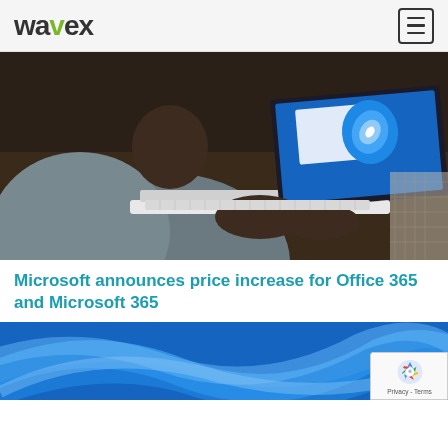wavex
[Figure (photo): Person seen from behind typing on a white laptop with Windows 11 interface visible on screen, sitting on a couch]
Microsoft announces price increase for Office 365 and Microsoft 365
[Figure (photo): Windows 11 blue abstract wave wallpaper, partially visible at bottom of page]